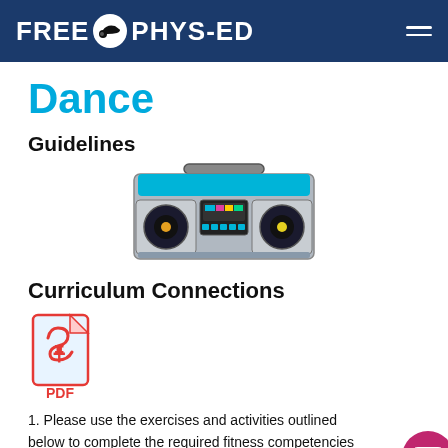FREE PHYS-ED
Dance
Guidelines
[Figure (illustration): Colorful retro boombox/stereo illustration with speakers, cassette deck, blue top panel, and handle.]
Curriculum Connections
[Figure (illustration): Red PDF file icon with Adobe-style Acrobat logo and 'PDF' label below.]
1. Please use the exercises and activities outlined below to complete the required fitness competencies and skills.